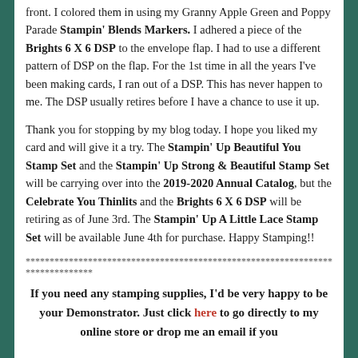front.  I colored them in using my Granny Apple Green and Poppy Parade Stampin' Blends Markers.  I adhered a piece of the Brights 6 X 6 DSP to the envelope flap.  I had to use a different pattern of DSP on the flap.  For the 1st time in all the years I've been making cards, I ran out of a DSP.  This has never happen to me.  The DSP usually retires before I have a chance to use it up.
Thank you for stopping by my blog today.  I hope you liked my card and will give it a try.  The Stampin' Up Beautiful You Stamp Set and the Stampin' Up Strong & Beautiful Stamp Set will be carrying over into the 2019-2020 Annual Catalog, but the Celebrate You Thinlits and the Brights 6 X 6 DSP will be retiring as of June 3rd.  The Stampin' Up A Little Lace Stamp Set will be available June 4th for purchase.  Happy Stamping!!
******************************************************************************
If you need any stamping supplies, I'd be very happy to be your Demonstrator.  Just click here to go directly to my online store or drop me an email if you